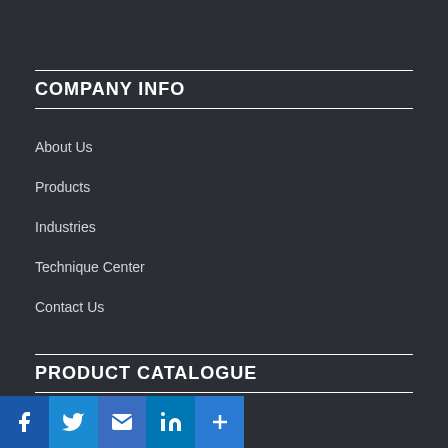COMPANY INFO
About Us
Products
Industries
Technique Center
Contact Us
PRODUCT CATALOGUE
[Figure (infographic): Social sharing icons bar at bottom: Facebook, Twitter, Email, LinkedIn, More (+)]